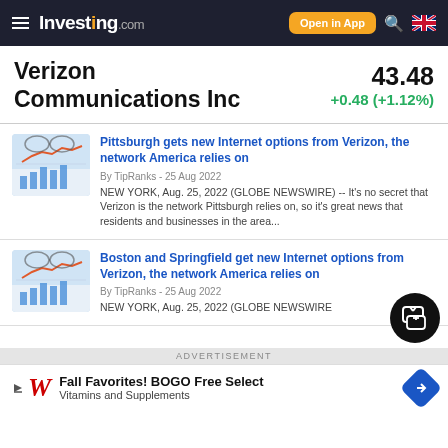Investing.com — Open in App
Verizon Communications Inc
43.48 +0.48 (+1.12%)
Pittsburgh gets new Internet options from Verizon, the network America relies on
By TipRanks - 25 Aug 2022
NEW YORK, Aug. 25, 2022 (GLOBE NEWSWIRE) -- It's no secret that Verizon is the network Pittsburgh relies on, so it's great news that residents and businesses in the area...
Boston and Springfield get new Internet options from Verizon, the network America relies on
By TipRanks - 25 Aug 2022
NEW YORK, Aug. 25, 2022 (GLOBE NEWSWIRE)
ADVERTISEMENT
Fall Favorites! BOGO Free Select Vitamins and Supplements